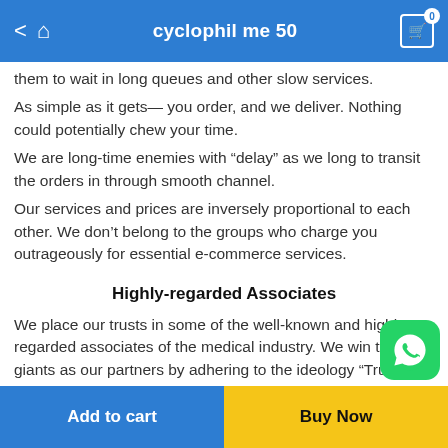cyclophil me 50
them to wait in long queues and other slow services.
As simple as it gets— you order, and we deliver. Nothing could potentially chew your time.
We are long-time enemies with “delay” as we long to transit the orders in through smooth channel.
Our services and prices are inversely proportional to each other. We don’t belong to the groups who charge you outrageously for essential e-commerce services.
Highly-regarded Associates
We place our trusts in some of the well-known and highly-regarded associates of the medical industry. We win these giants as our partners by adhering to the ideology “Trusted associ... bring a bit of trust in our calibers.” Sticking to the said cr...